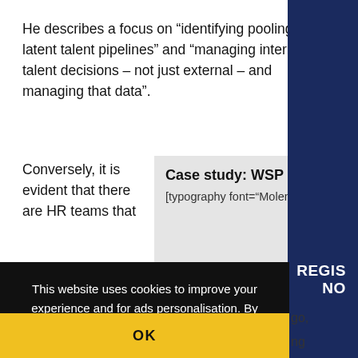He describes a focus on “identifying pooling and latent talent pipelines” and “managing internal talent decisions – not just external – and managing that data”.
Conversely, it is evident that there are HR teams that
Case study: WSP UK
[typography font="Molengo"
This website uses cookies to improve your experience and for ads personalisation. By continuing to browse this site you are agreeing to our use of these cookies. You can learn more about the cookies we use here.
OK